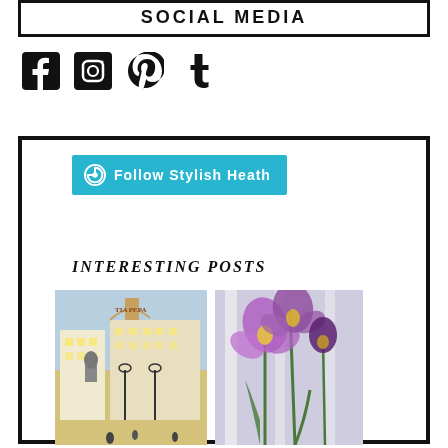SOCIAL MEDIA
[Figure (infographic): Social media icons: Facebook, Instagram, Pinterest, Tumblr]
[Figure (infographic): WordPress Follow button: Follow Stylish Heath]
INTERESTING POSTS
[Figure (illustration): Watercolor illustration of a city square with buildings and people]
[Figure (photo): Photo of purple and yellow iris flowers]